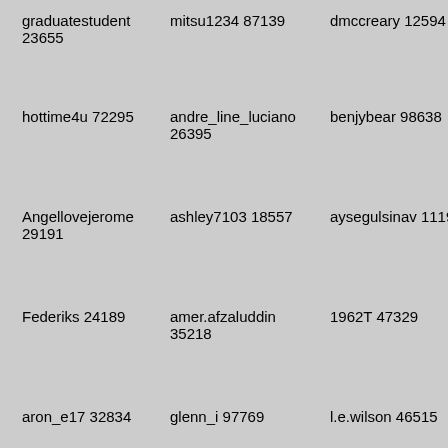graduatestudent 23655
mitsu1234 87139
dmccreary 12594
hottime4u 72295
andre_line_luciano 26395
benjybear 98638
Angellovejerome 29191
ashley7103 18557
aysegulsinav 11196
Federiks 24189
amer.afzaluddin 35218
1962T 47329
aron_e17 32834
glenn_i 97769
l.e.wilson 46515